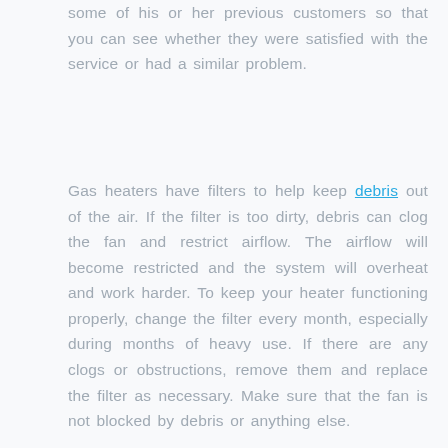some of his or her previous customers so that you can see whether they were satisfied with the service or had a similar problem.
Gas heaters have filters to help keep debris out of the air. If the filter is too dirty, debris can clog the fan and restrict airflow. The airflow will become restricted and the system will overheat and work harder. To keep your heater functioning properly, change the filter every month, especially during months of heavy use. If there are any clogs or obstructions, remove them and replace the filter as necessary. Make sure that the fan is not blocked by debris or anything else.